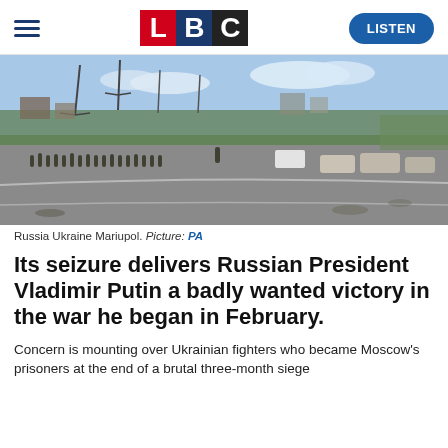LBC — LISTEN
[Figure (photo): Aerial view of a road in Mariupol with a long line of soldiers/prisoners walking along the road, vehicles parked nearby, industrial infrastructure and green trees in background.]
Russia Ukraine Mariupol. Picture: PA
Its seizure delivers Russian President Vladimir Putin a badly wanted victory in the war he began in February.
Concern is mounting over Ukrainian fighters who became Moscow's prisoners at the end of a brutal three-month siege